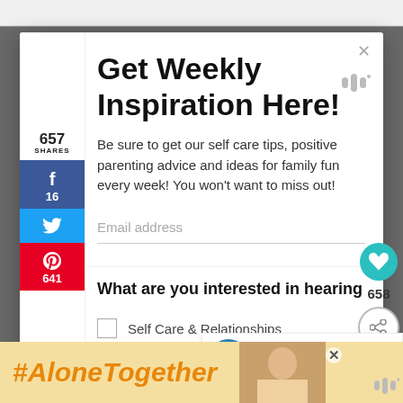Get Weekly Inspiration Here!
Be sure to get our self care tips, positive parenting advice and ideas for family fun every week! You won't want to miss out!
Email address
657 SHARES
16
641
658
What are you interested in hearing
WHAT'S NEXT → Whale Rock Painting Cra...
Self Care & Relationships
#AloneTogether